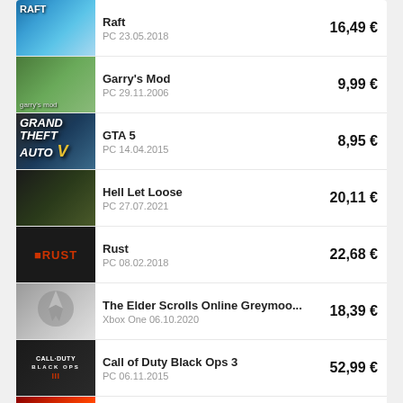Raft | PC 23.05.2018 | 16,49 €
Garry's Mod | PC 29.11.2006 | 9,99 €
GTA 5 | PC 14.04.2015 | 8,95 €
Hell Let Loose | PC 27.07.2021 | 20,11 €
Rust | PC 08.02.2018 | 22,68 €
The Elder Scrolls Online Greymoo... | Xbox One 06.10.2020 | 18,39 €
Call of Duty Black Ops 3 | PC 06.11.2015 | 52,99 €
Red Dead Redemption 2 PS4 | PS4 29.10.2018 | 21,00 €
Andere Spiele